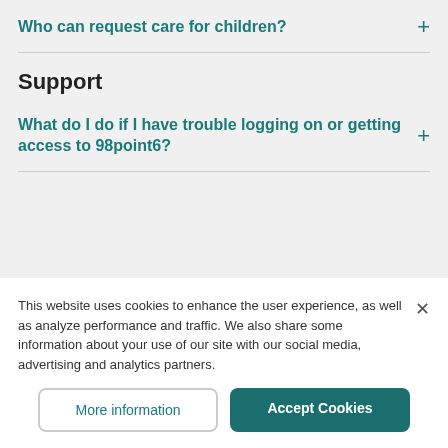Who can request care for children?
Support
What do I do if I have trouble logging on or getting access to 98point6?
This website uses cookies to enhance the user experience, as well as analyze performance and traffic. We also share some information about your use of our site with our social media, advertising and analytics partners.
More information
Accept Cookies